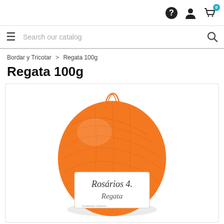Navigation bar with help, account, and cart icons (0 items)
Search our catalog
Bordar y Tricotar > Regata 100g
Regata 100g
[Figure (photo): Orange yarn ball with Rosários 4 Regata Ecofriendly Collection label]